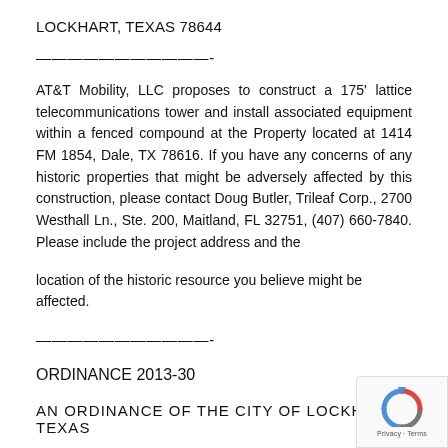LOCKHART, TEXAS 78644
———————————-
AT&T Mobility, LLC proposes to construct a 175' lattice telecommunications tower and install associated equipment within a fenced compound at the Property located at 1414 FM 1854, Dale, TX 78616. If you have any concerns of any historic properties that might be adversely affected by this construction, please contact Doug Butler, Trileaf Corp., 2700 Westhall Ln., Ste. 200, Maitland, FL 32751, (407) 660-7840. Please include the project address and the
location of the historic resource you believe might be affected.
———————————-
ORDINANCE 2013-30
AN ORDINANCE OF THE CITY OF LOCKHART, TEXAS